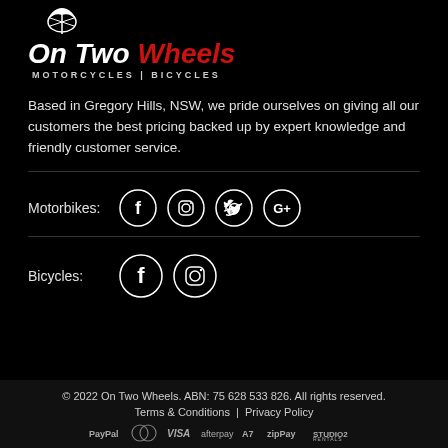[Figure (logo): On Two Wheels logo with leaf/wheel icon, text 'On Two Wheels' in white and red italic, subtitle 'MOTORCYCLES | BICYCLES']
Based in Gregory Hills, NSW, we pride ourselves on giving all our customers the best pricing backed up by expert knowledge and friendly customer service.
Motorbikes: [Facebook] [Instagram] [Twitter] [Google+]
Bicycles: [Facebook] [Instagram]
© 2022 On Two Wheels. ABN: 75 628 533 826. All rights reserved. Terms & Conditions | Privacy Policy PayPal Mastercard VISA afterpay A7 zipPay STUDIO2 RENTALS